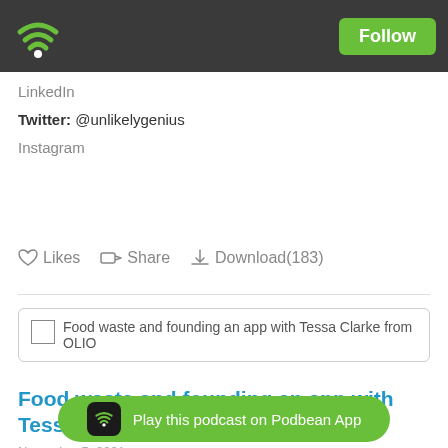Follow
LinkedIn
Twitter: @unlikelygenius
Instagram
Likes  Share  Download(183)
[Figure (screenshot): Episode thumbnail placeholder for 'Food waste and founding an app with Tessa Clarke from OLIO']
Food waste and founding an app with Tessa Clarke from OLIO
November 5, 2021
To mark the... Tessa Clarke, founder of food sharing app OLIO, we talk about running a
Play this podcast on Podbean App